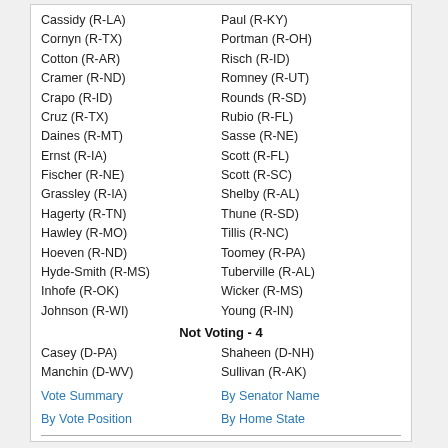Cassidy (R-LA)
Paul (R-KY)
Cornyn (R-TX)
Portman (R-OH)
Cotton (R-AR)
Risch (R-ID)
Cramer (R-ND)
Romney (R-UT)
Crapo (R-ID)
Rounds (R-SD)
Cruz (R-TX)
Rubio (R-FL)
Daines (R-MT)
Sasse (R-NE)
Ernst (R-IA)
Scott (R-FL)
Fischer (R-NE)
Scott (R-SC)
Grassley (R-IA)
Shelby (R-AL)
Hagerty (R-TN)
Thune (R-SD)
Hawley (R-MO)
Tillis (R-NC)
Hoeven (R-ND)
Toomey (R-PA)
Hyde-Smith (R-MS)
Tuberville (R-AL)
Inhofe (R-OK)
Wicker (R-MS)
Johnson (R-WI)
Young (R-IN)
Not Voting - 4
Casey (D-PA)
Shaheen (D-NH)
Manchin (D-WV)
Sullivan (R-AK)
Vote Summary
By Senator Name
By Vote Position
By Home State